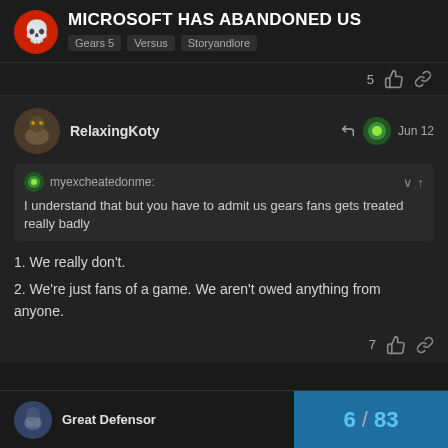MICROSOFT HAS ABANDONED US
Gears 5  Versus  Storyandlore
5 👍 🔗
RelaxingKoty  Jun 12
myexcheatedonme: I understand that but you have to admit us gears fans gets treated really badly
1. We really don't.
2. We're just fans of a game. We aren't owed anything from anyone.
7 👍 🔗
Great Defensor  6 / 83